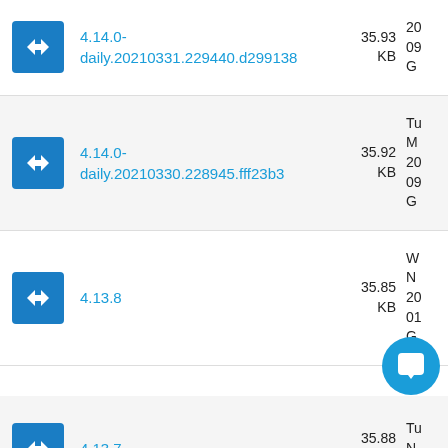4.14.0-daily.20210331.229440.d299138 | 35.93 KB
4.14.0-daily.20210330.228945.fff23b3 | 35.92 KB
4.13.8 | 35.85 KB
4.13.7 | 35.88 KB